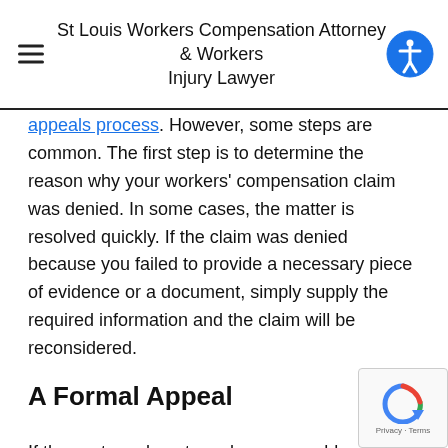St Louis Workers Compensation Attorney & Workers Injury Lawyer
appeals process. However, some steps are common. The first step is to determine the reason why your workers' compensation claim was denied. In some cases, the matter is resolved quickly. If the claim was denied because you failed to provide a necessary piece of evidence or a document, simply supply the required information and the claim will be reconsidered.
A Formal Appeal
If these steps do not resolve your problem, it may become necessary to file a formal appeal according to the guidelines by the state's workers' compensation